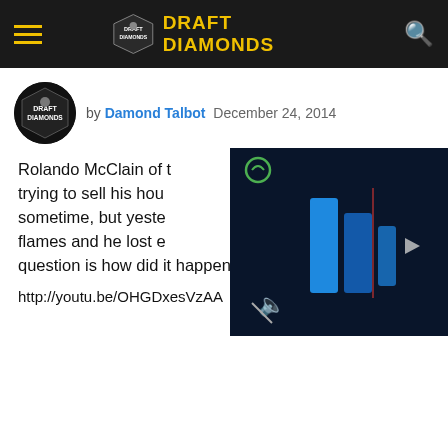DRAFT DIAMONDS
by Damond Talbot  December 24, 2014
[Figure (screenshot): Video player screenshot showing blue geometric shapes on dark background with play button and mute icon]
Rolando McClain of t... trying to sell his hou... sometime, but yeste... flames and he lost e... question is how did it happen.
http://youtu.be/OHGDxesVzAA